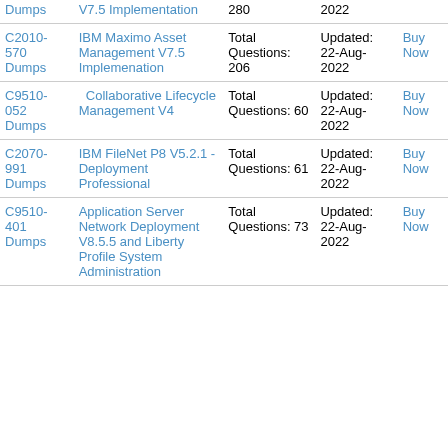| Code | Name | Questions | Updated | Action |
| --- | --- | --- | --- | --- |
| Dumps | V7.5 Implementation | 280 | 2022 |  |
| C2010-570 Dumps | IBM Maximo Asset Management V7.5 Implemenation | Total Questions: 206 | Updated: 22-Aug-2022 | Buy Now |
| C9510-052 Dumps | Collaborative Lifecycle Management V4 | Total Questions: 60 | Updated: 22-Aug-2022 | Buy Now |
| C2070-991 Dumps | IBM FileNet P8 V5.2.1 - Deployment Professional | Total Questions: 61 | Updated: 22-Aug-2022 | Buy Now |
| C9510-401 Dumps | Application Server Network Deployment V8.5.5 and Liberty Profile System Administration | Total Questions: 73 | Updated: 22-Aug-2022 | Buy Now |